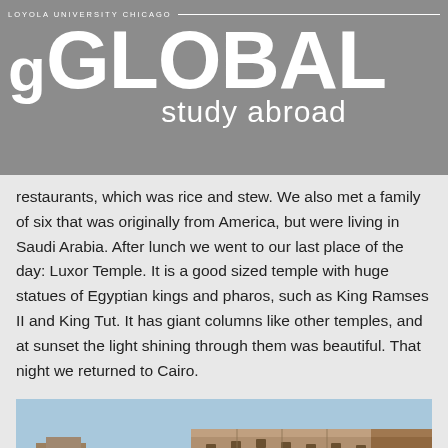LOYOLA UNIVERSITY CHICAGO — GO GLOBAL study abroad
restaurants, which was rice and stew. We also met a family of six that was originally from America, but were living in Saudi Arabia. After lunch we went to our last place of the day: Luxor Temple. It is a good sized temple with huge statues of Egyptian kings and pharos, such as King Ramses II and King Tut. It has giant columns like other temples, and at sunset the light shining through them was beautiful. That night we returned to Cairo.
[Figure (photo): Photograph of ancient Egyptian stone temple ruins (Luxor Temple) with large stone blocks and walls against a blue sky]